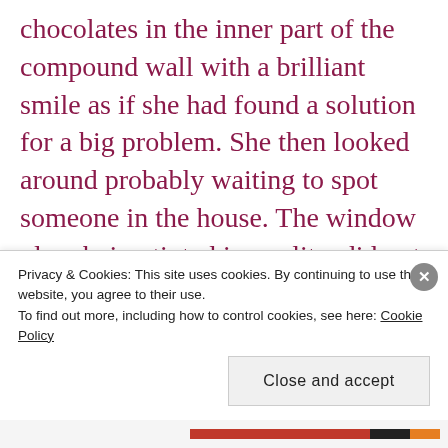chocolates in the inner part of the compound wall with a brilliant smile as if she had found a solution for a big problem. She then looked around probably waiting to spot someone in the house. The window glass being tinted in quality, did not allow her to see inside. They calmly went away. I was smiling with joy even when my pretty rose was harshly plucked by the girl! I went out and collected the chocolates she had left as her token of
Privacy & Cookies: This site uses cookies. By continuing to use this website, you agree to their use.
To find out more, including how to control cookies, see here: Cookie Policy
Close and accept